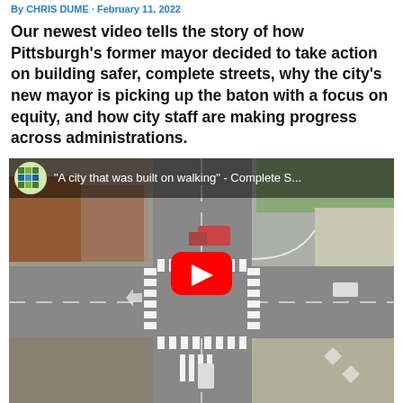By [author name] · February 11, 2022
Our newest video tells the story of how Pittsburgh's former mayor decided to take action on building safer, complete streets, why the city's new mayor is picking up the baton with a focus on equity, and how city staff are making progress across administrations.
[Figure (screenshot): YouTube video thumbnail showing aerial view of a Pittsburgh street intersection with crosswalks and road markings. Overlay bar at top shows channel logo and title 'A city that was built on walking - Complete S...'. Red YouTube play button centered over the image.]